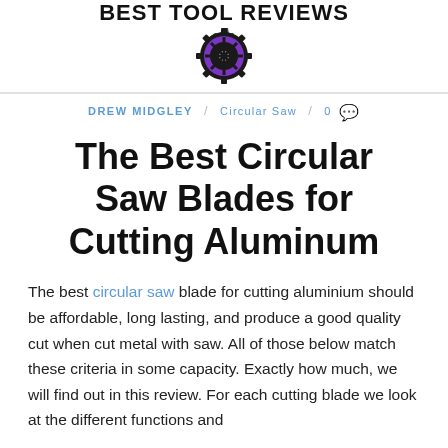[Figure (logo): Best Tool Reviews logo with gear/saw blade icon and bold text reading BEST TOOL REVIEWS]
DREW MIDGLEY / Circular Saw / 0
The Best Circular Saw Blades for Cutting Aluminum
The best circular saw blade for cutting aluminium should be affordable, long lasting, and produce a good quality cut when cut metal with saw. All of those below match these criteria in some capacity. Exactly how much, we will find out in this review. For each cutting blade we look at the different functions and